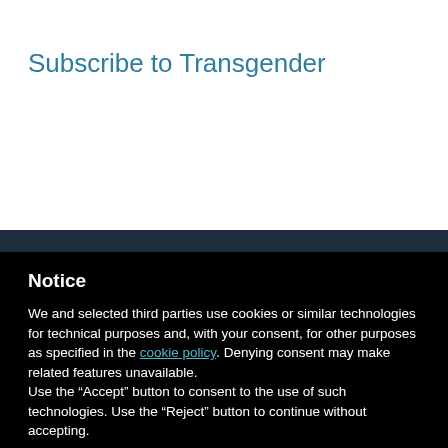Subscribe to Transgender
Notice
We and selected third parties use cookies or similar technologies for technical purposes and, with your consent, for other purposes as specified in the cookie policy. Denying consent may make related features unavailable.
Use the “Accept” button to consent to the use of such technologies. Use the “Reject” button to continue without accepting.
Reject
Accept
Learn more and customize